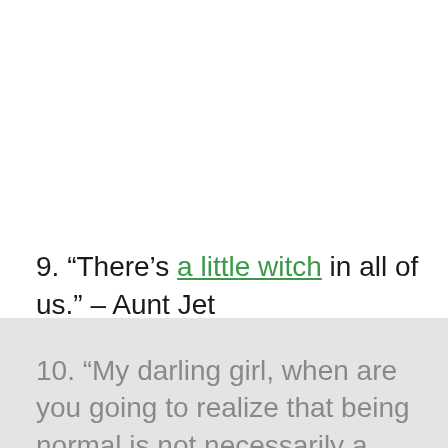9. “There’s a little witch in all of us.” – Aunt Jet
10. “My darling girl, when are you going to realize that being normal is not necessarily a virtue? It rather denotes a lack of courage!” – Aunt